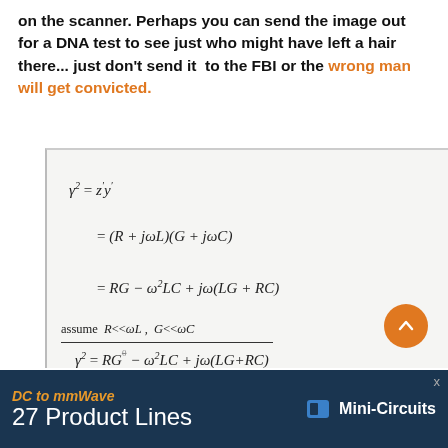on the scanner. Perhaps you can send the image out for a DNA test to see just who might have left a hair there... just don't send it to the FBI or the wrong man will get convicted.
[Figure (photo): Photograph of a whiteboard showing handwritten equations: γ² = z'y' = (R + jωL)(G + jωC) = RG - ω²LC + jω(LG + RC). Below a line labeled 'assume R<<ωL, G<<ωC', the equation γ² = RG⁰ - ω²LC + jω(LG+RC) is written, followed by 'graph it.' and a partial complex plane diagram.]
DC to mmWave  27 Product Lines  Mini-Circuits